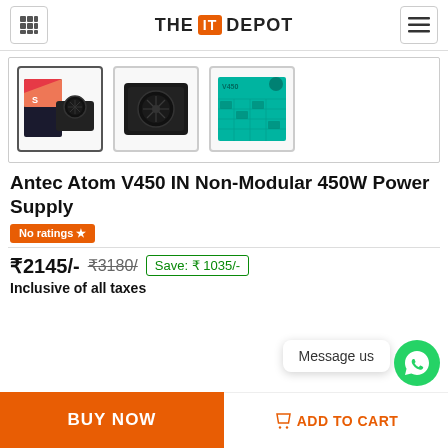THE IT DEPOT
[Figure (screenshot): Three product thumbnail images of Antec Atom V450 power supply: product box with PSU, black PSU unit top view, and green product box]
Antec Atom V450 IN Non-Modular 450W Power Supply
No ratings ★
₹2145/-  ₹3180/  Save: ₹ 1035/-
Inclusive of all taxes
Message us
BUY NOW
ADD TO CART